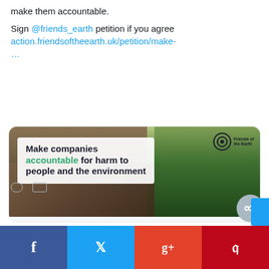make them accountable.
Sign @friends_earth petition if you agree action.friendsoftheearth.uk/petition/make-…
[Figure (screenshot): Friends of the Earth campaign image showing deforested land on the left and green forest on the right, with overlay text reading 'Make companies accountable for harm to people and the environment' and the Friends of the Earth logo in the top right corner.]
action.friendsoftheearth.uk
Make companies accountable for harm to people and the environment
Facebook share | Twitter share | Google+ share | Pinterest share